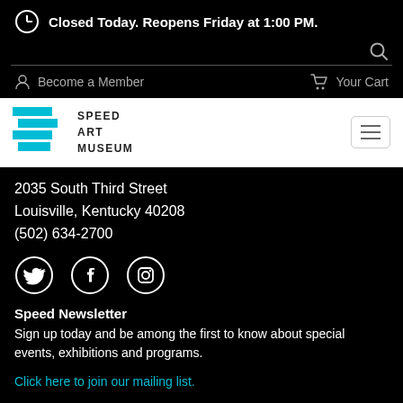Closed Today. Reopens Friday at 1:00 PM.
Become a Member   Your Cart
[Figure (logo): Speed Art Museum logo with cyan geometric shapes and text SPEED ART MUSEUM]
2035 South Third Street
Louisville, Kentucky 40208
(502) 634-2700
[Figure (infographic): Social media icons: Twitter, Facebook, Instagram in circular outlines]
Speed Newsletter
Sign up today and be among the first to know about special events, exhibitions and programs.
Click here to join our mailing list.
About